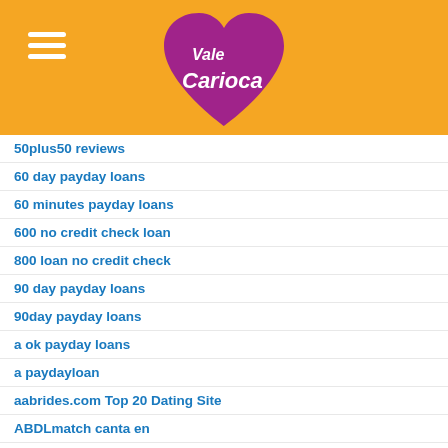[Figure (logo): Vale Carioca heart-shaped logo with orange background and hamburger menu icon]
50plus50 reviews
60 day payday loans
60 minutes payday loans
600 no credit check loan
800 loan no credit check
90 day payday loans
90day payday loans
a ok payday loans
a paydayloan
aabrides.com Top 20 Dating Site
ABDLmatch canta en
abdlmatch come funziona
abdlmatch connexion
abdlmatch dating